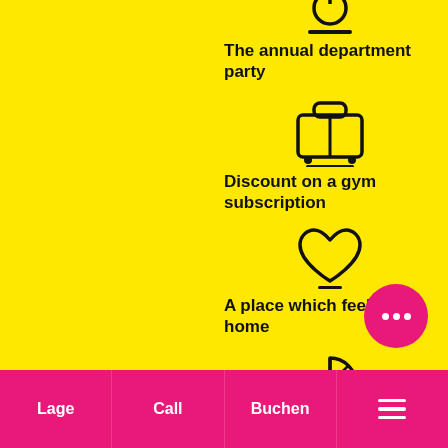[Figure (illustration): Party/calendar icon with underline bar on yellow background (partially visible at top)]
The annual department party
[Figure (illustration): Luggage/briefcase icon with underline bar on yellow background]
Discount on a gym subscription
[Figure (illustration): Heart icon with underline bar on yellow background]
A place which feels like home
[Figure (illustration): Citrus/lemon slice icon with underline bar on yellow background (partially visible at bottom)]
[Figure (illustration): Pink circular chat bubble button with three dots]
Lage  Call  Buchen  ☰